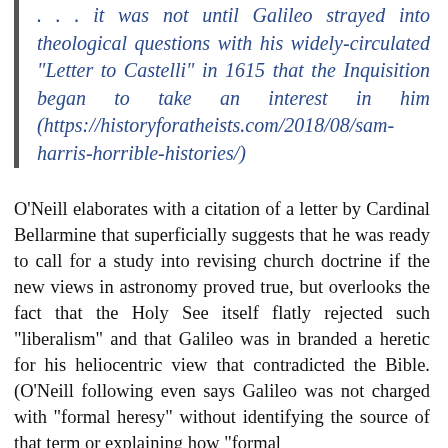. . . it was not until Galileo strayed into theological questions with his widely-circulated “Letter to Castelli” in 1615 that the Inquisition began to take an interest in him (https://historyforatheists.com/2018/08/sam-harris-horrible-histories/)
O’Neill elaborates with a citation of a letter by Cardinal Bellarmine that superficially suggests that he was ready to call for a study into revising church doctrine if the new views in astronomy proved true, but overlooks the fact that the Holy See itself flatly rejected such “liberalism” and that Galileo was in branded a heretic for his heliocentric view that contradicted the Bible. (O’Neill following even says Galileo was not charged with “formal heresy” without identifying the source of that term or explaining how “formal